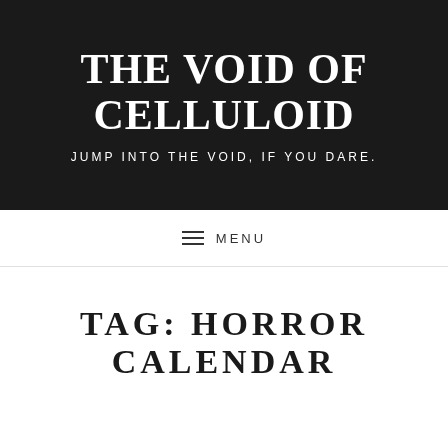THE VOID OF CELLULOID
JUMP INTO THE VOID, IF YOU DARE.
MENU
TAG: HORROR CALENDAR
FEATURED  |  BY THEVOIDOFCELLULOID  |  3 COMMENTS